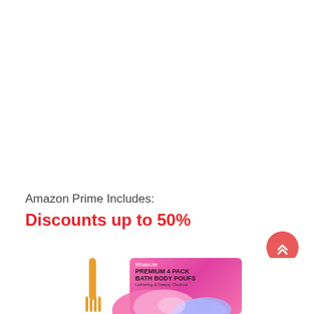Amazon Prime Includes:
Discounts up to 50%
[Figure (photo): Bottom portion of a product advertisement showing a yellow/gold comb on the left and a pink cylindrical container labeled 'WhateLife PREMIUM 4 PACK BATH BODY POUFS Lathering & Deeply Cleanse' with pink and pastel bath puffs visible in the foreground, partially cropped at the bottom of the page.]